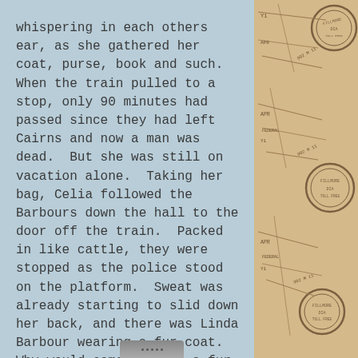whispering in each others ear, as she gathered her coat, purse, book and such.  When the train pulled to a stop, only 90 minutes had passed since they had left Cairns and now a man was dead.  But she was still on vacation alone.  Taking her bag, Celia followed the Barbours down the hall to the door off the train.  Packed in like cattle, they were stopped as the police stood on the platform.  Sweat was already starting to slid down her back, and there was Linda Barbour wearing a fur coat.  Why would someone wear a fur coat in a rainforest?  Why would someone wear a coat at all . . . it was summer and the wet season.  Even                    y American
[Figure (illustration): Decorative travel map background panel on the right side of the page, showing vintage map illustrations with stamps, text fragments including 'APR', 'DIA', numbers like '902 M 11', and various map markings in brown tones on a beige background.]